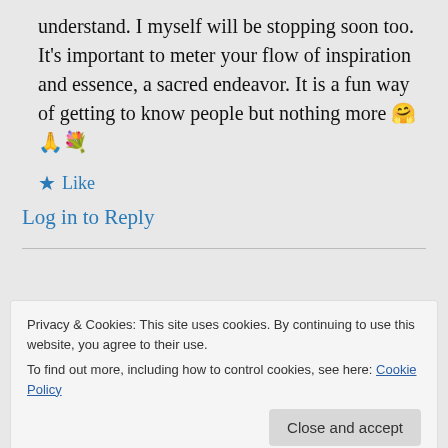understand. I myself will be stopping soon too. It's important to meter your flow of inspiration and essence, a sacred endeavor. It is a fun way of getting to know people but nothing more 🤗🙏💐
★ Like
Log in to Reply
Privacy & Cookies: This site uses cookies. By continuing to use this website, you agree to their use.
To find out more, including how to control cookies, see here: Cookie Policy
Close and accept
understanding, dear friend